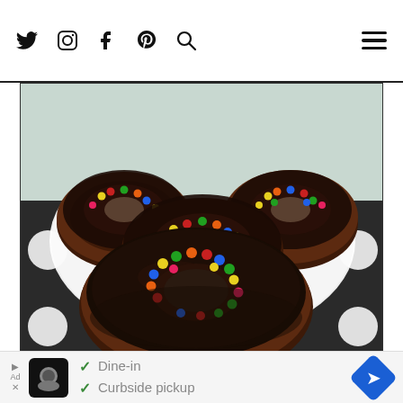Social media navigation icons (Twitter, Instagram, Facebook, Pinterest, Search) and hamburger menu
[Figure (photo): Chocolate-glazed donuts with colorful candy sprinkles on a white plate and black polka-dot napkin]
Dine-in
Curbside pickup